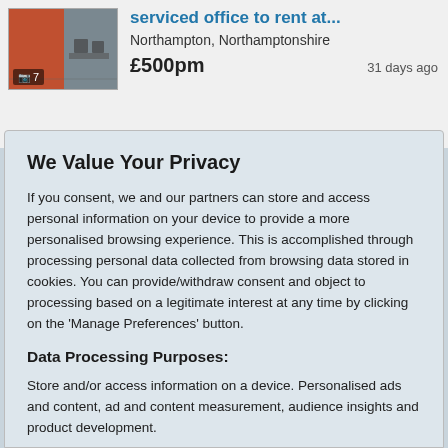[Figure (screenshot): Property listing thumbnail showing an office interior with orange/red wall and dark chairs, with a photo count badge showing camera icon and '7']
serviced office to rent at...
Northampton, Northamptonshire
£500pm
31 days ago
We Value Your Privacy
If you consent, we and our partners can store and access personal information on your device to provide a more personalised browsing experience. This is accomplished through processing personal data collected from browsing data stored in cookies. You can provide/withdraw consent and object to processing based on a legitimate interest at any time by clicking on the 'Manage Preferences' button.
Data Processing Purposes:
Store and/or access information on a device. Personalised ads and content, ad and content measurement, audience insights and product development.
List of Partners (vendors)
Accept
Manage your privacy settings